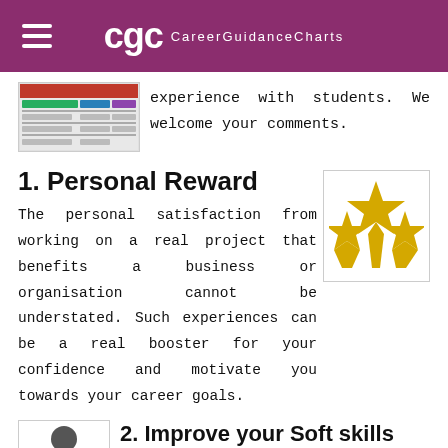CareerGuidanceCharts
experience with students. We welcome your comments.
1. Personal Reward
[Figure (illustration): Three gold/yellow stars rating icon]
The personal satisfaction from working on a real project that benefits a business or organisation cannot be understated. Such experiences can be a real booster for your confidence and motivate you towards your career goals.
[Figure (illustration): Person silhouette icon in a box]
2. Improve your Soft skills